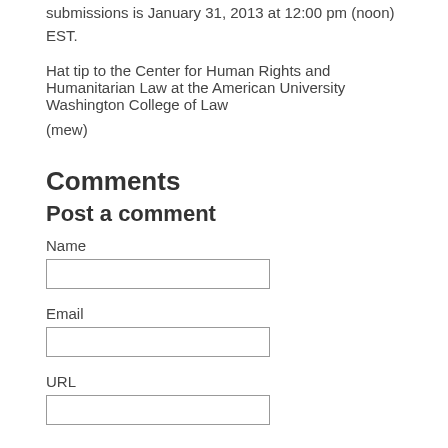submissions is January 31, 2013 at 12:00 pm (noon) EST.
Hat tip to the Center for Human Rights and Humanitarian Law at the American University Washington College of Law
(mew)
Comments
Post a comment
Name
Email
URL